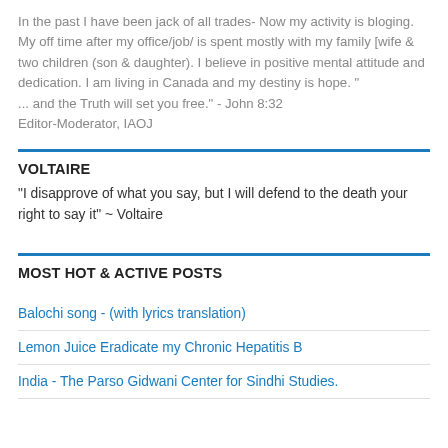In the past I have been jack of all trades- Now my activity is bloging. My off time after my office/job/ is spent mostly with my family [wife & two children (son & daughter). I believe in positive mental attitude and dedication. I am living in Canada and my destiny is hope. " ... and the Truth will set you free." - John 8:32 Editor-Moderator, IAOJ
VOLTAIRE
"I disapprove of what you say, but I will defend to the death your right to say it" ~ Voltaire
MOST HOT & ACTIVE POSTS
Balochi song - (with lyrics translation)
Lemon Juice Eradicate my Chronic Hepatitis B
India - The Parso Gidwani Center for Sindhi Studies.